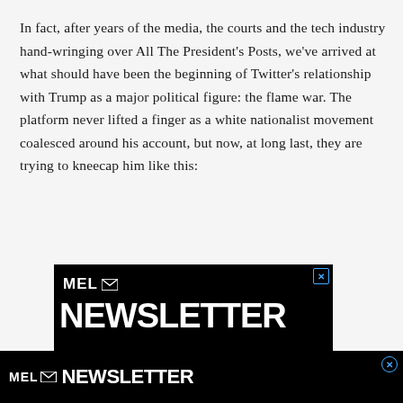In fact, after years of the media, the courts and the tech industry hand-wringing over All The President's Posts, we've arrived at what should have been the beginning of Twitter's relationship with Trump as a major political figure: the flame war. The platform never lifted a finger as a white nationalist movement coalesced around his account, but now, at long last, they are trying to kneecap him like this:
[Figure (other): MEL Newsletter advertisement banner with black background, white MEL logo with envelope icon, large white NEWSLETTER text, and a photo strip showing mechanical/structural imagery.]
[Figure (other): Bottom sticky MEL Newsletter advertisement bar with black background, white MEL logo with envelope icon, and white NEWSLETTER text.]